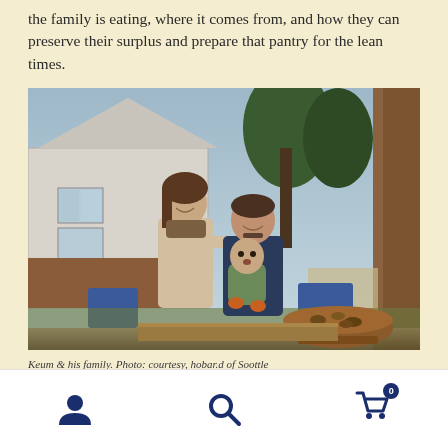the family is eating, where it comes from, and how they can preserve their surplus and prepare that pantry for the lean times.
[Figure (photo): A family of three — a woman, a man holding a baby — posing outdoors in a backyard setting with a house and trees in the background. There is a large clay bowl in the foreground.]
Keum 8 his family. Photo: courtesy, hobar.d of Soottle
Navigation bar with user, search, and cart icons